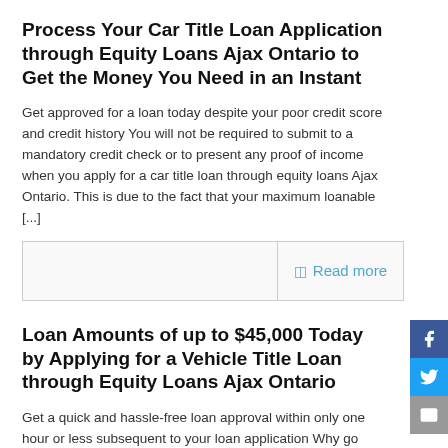Process Your Car Title Loan Application through Equity Loans Ajax Ontario to Get the Money You Need in an Instant
Get approved for a loan today despite your poor credit score and credit history You will not be required to submit to a mandatory credit check or to present any proof of income when you apply for a car title loan through equity loans Ajax Ontario. This is due to the fact that your maximum loanable [...]
Read more
Loan Amounts of up to $45,000 Today by Applying for a Vehicle Title Loan through Equity Loans Ajax Ontario
Get a quick and hassle-free loan approval within only one hour or less subsequent to your loan application Why go through the hassle of having to comply with a myriad of requirements and having to submit to a mandatory and time-consuming credit check